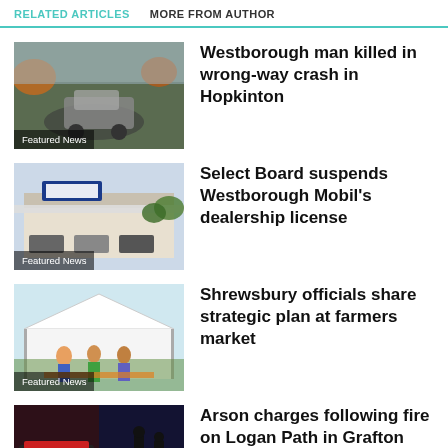RELATED ARTICLES   MORE FROM AUTHOR
[Figure (photo): Car crash wreckage photo with Featured News badge]
Westborough man killed in wrong-way crash in Hopkinton
[Figure (photo): Gas station building photo with Featured News badge]
Select Board suspends Westborough Mobil's dealership license
[Figure (photo): Farmers market with tent photo with Featured News badge]
Shrewsbury officials share strategic plan at farmers market
[Figure (photo): Police scene photo with POLICE sign and Featured News badge]
Arson charges following fire on Logan Path in Grafton
[Figure (photo): Partial photo at bottom of page]
Shr...